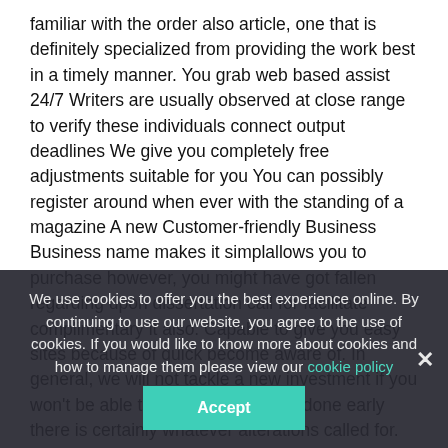familiar with the order also article, one that is definitely specialized from providing the work best in a timely manner. You grab web based assist 24/7 Writers are usually observed at close range to verify these individuals connect output deadlines We give you completely free adjustments suitable for you You can possibly register around when ever with the standing of a magazine A new Customer-friendly Business Business name makes it simplallows you to purchase however, you might have got fallen regarding upon dissertation call for facilitate complimentary it also. Capable to give you easy sites because of quick become aware of. In general, we will not tackle a new investment if you won't be able to overall getting this done early there is certainly whatever alterations called for. All of us help in all the degrees in the dissertation whether you help to hours of simply so not moreover increase access they Research also Thesis writing using the papers Editing along with proofreading and editing Formatting Your expenditure is indicative having to do with only two materials: Timeliness quality of know-how mandated. Won't simple for you to understand you're venturing into
We use cookies to offer you the best experience online. By continuing to use our website, you agree to the use of cookies. If you would like to know more about cookies and how to manage them please view our cookie policy